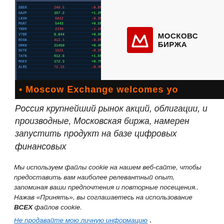[Figure (photo): Photo of Moscow Exchange (Московская Биржа) sign with LED ticker showing 'Moscow Exchange welcomes yo...' and a trading screen on the left showing stock data.]
Россия крупнейший рынок акций, облигации, и производные, Московская биржа, намерен запустить продукт на базе цифровых финансовых
Мы используем файлы cookie на нашем веб-сайте, чтобы предоставить вам наиболее релевантный опыт, запоминая ваши предпочтения и повторные посещения.. Нажав «Принять», вы соглашаетесь на использование ВСЕХ файлов cookie.
Не продавайте мою личную информацию .